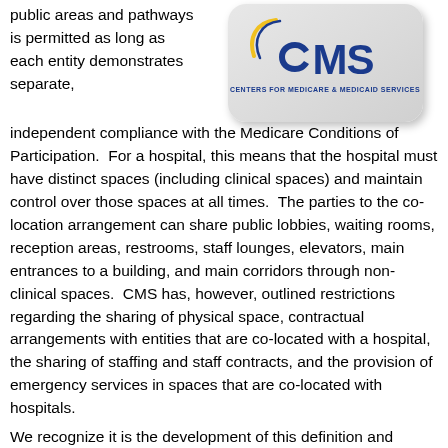public areas and pathways is permitted as long as each entity demonstrates separate, independent compliance with the Medicare Conditions of Participation.  For a hospital, this means that the hospital must have distinct spaces (including clinical spaces) and maintain control over those spaces at all times.  The parties to the co-location arrangement can share public lobbies, waiting rooms, reception areas, restrooms, staff lounges, elevators, main entrances to a building, and main corridors through non-clinical spaces.  CMS has, however, outlined restrictions regarding the sharing of physical space, contractual arrangements with entities that are co-located with a hospital, the sharing of staffing and staff contracts, and the provision of emergency services in spaces that are co-located with hospitals.
[Figure (logo): CMS Centers for Medicare & Medicaid Services logo badge on a rounded grey background]
We recognize it is the development of this definition and...